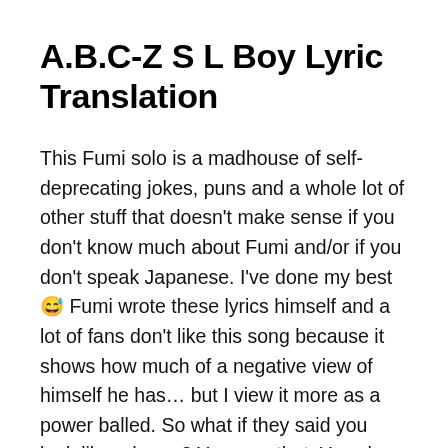A.B.C-Z S L Boy Lyric Translation
This Fumi solo is a madhouse of self-deprecating jokes, puns and a whole lot of other stuff that doesn't make sense if you don't know much about Fumi and/or if you don't speak Japanese. I've done my best 😅 Fumi wrote these lyrics himself and a lot of fans don't like this song because it shows how much of a negative view of himself he has… but I view it more as a power balled. So what if they said you look like a horse? You own that. You show them Fumi! S L Boys are A-OK! 😍